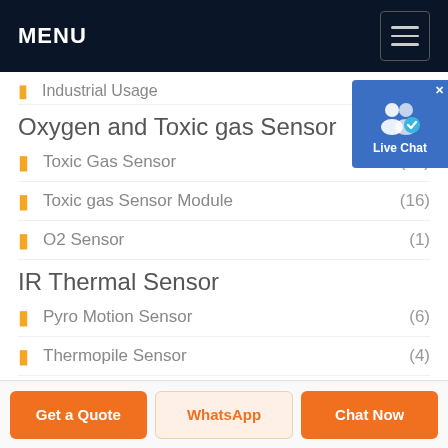MENU
Industrial Usage
Oxygen and Toxic gas Sensor
Toxic Gas Sensor (18)
Toxic gas Sensor Module (16)
O2 Sensor (1)
IR Thermal Sensor
Pyro Motion Sensor (6)
Thermopile Sensor (4)
Formaldehyde
[Figure (infographic): Live Chat widget with user icon and blue background]
Get a Quote | WhatsApp | Chat Now